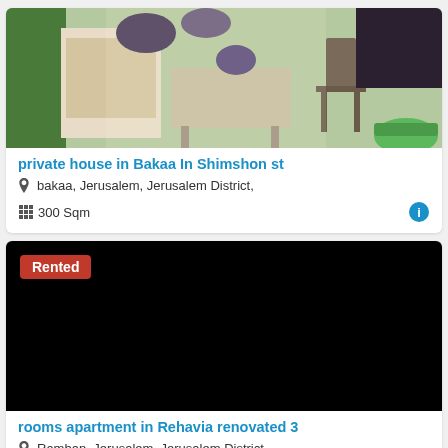[Figure (photo): Photo of a balcony/outdoor area with furniture, clothes hanging, and a green basket]
private house in Bakaa In Shimshon st
bakaa, Jerusalem, Jerusalem District,
300 Sqm
[Figure (photo): Black image with Rented badge in top left corner]
rooms apartment in Rehavia renovated 3
Ramban, Jerusalem, Jerusalem District,
2  2  85 Sqm